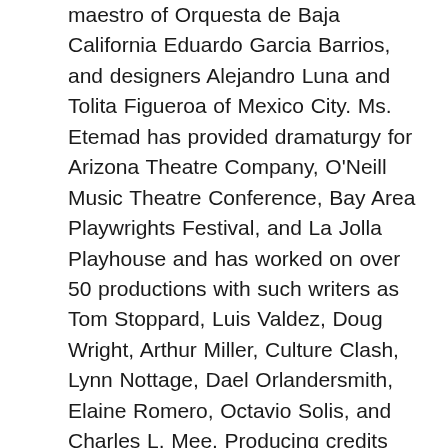maestro of Orquesta de Baja California Eduardo Garcia Barrios, and designers Alejandro Luna and Tolita Figueroa of Mexico City. Ms. Etemad has provided dramaturgy for Arizona Theatre Company, O'Neill Music Theatre Conference, Bay Area Playwrights Festival, and La Jolla Playhouse and has worked on over 50 productions with such writers as Tom Stoppard, Luis Valdez, Doug Wright, Arthur Miller, Culture Clash, Lynn Nottage, Dael Orlandersmith, Elaine Romero, Octavio Solis, and Charles L. Mee. Producing credits include directing the 5th Annual New America Playwrights Festival at San Jose Rep and co-chairing the 2004 LMDA Annual Conference in Philadelphia. Ms. Etemad served as Festival Coordinator for the 30th Anniversary Bay Area Playwrights Festival, where she directed the staged reading of Marisela Treviño Orta's one-act version of Woman on Fire this past August. Ms. Etemad holds an MFA in Dramaturgy from UC San